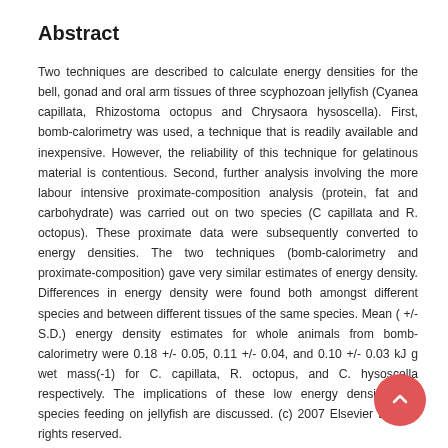Abstract
Two techniques are described to calculate energy densities for the bell, gonad and oral arm tissues of three scyphozoan jellyfish (Cyanea capillata, Rhizostoma octopus and Chrysaora hysoscella). First, bomb-calorimetry was used, a technique that is readily available and inexpensive. However, the reliability of this technique for gelatinous material is contentious. Second, further analysis involving the more labour intensive proximate-composition analysis (protein, fat and carbohydrate) was carried out on two species (C capillata and R. octopus). These proximate data were subsequently converted to energy densities. The two techniques (bomb-calorimetry and proximate-composition) gave very similar estimates of energy density. Differences in energy density were found both amongst different species and between different tissues of the same species. Mean ( +/- S.D.) energy density estimates for whole animals from bomb-calorimetry were 0.18 +/- 0.05, 0.11 +/- 0.04, and 0.10 +/- 0.03 kJ g wet mass(-1) for C. capillata, R. octopus, and C. hysoscella respectively. The implications of these low energy densities for species feeding on jellyfish are discussed. (c) 2007 Elsevier B.V. All rights reserved.